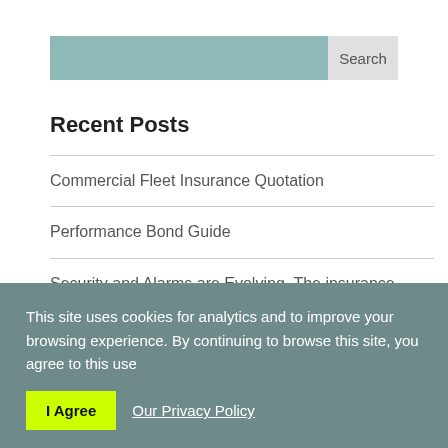Search
Recent Posts
Commercial Fleet Insurance Quotation
Performance Bond Guide
Security and Alarms are Evolving. The insurance impact.
Clarke Williams Ltd Celebrate Anniversary and New Premises with help of Local MP Tom Tugendhat
Market Update – It's (hopefully) not all Doom and Gloom
This site uses cookies for analytics and to improve your browsing experience. By continuing to browse this site, you agree to this use
I Agree
Our Privacy Policy